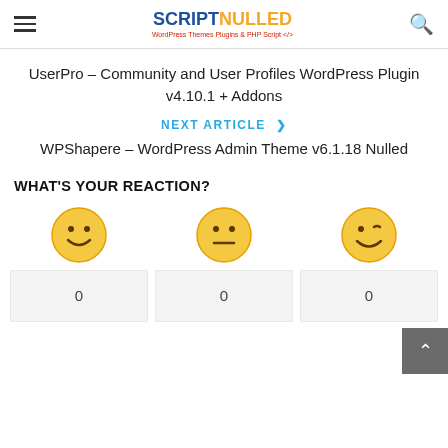SCRIPTNULLED - WordPress Themes Plugins & PHP Script
UserPro – Community and User Profiles WordPress Plugin v4.10.1 + Addons
NEXT ARTICLE > WPShapere – WordPress Admin Theme v6.1.18 Nulled
WHAT'S YOUR REACTION?
[Figure (infographic): Three reaction emoji faces (happy, neutral, happy-wink) each with a count of 0 below in a gray box]